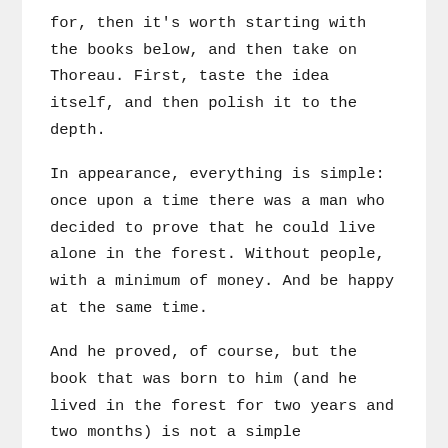for, then it's worth starting with the books below, and then take on Thoreau. First, taste the idea itself, and then polish it to the depth.
In appearance, everything is simple: once upon a time there was a man who decided to prove that he could live alone in the forest. Without people, with a minimum of money. And be happy at the same time.
And he proved, of course, but the book that was born to him (and he lived in the forest for two years and two months) is not a simple description of building a house, but a whole ideology.